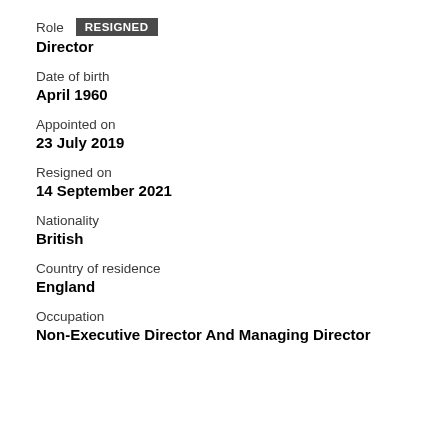Role RESIGNED
Director
Date of birth
April 1960
Appointed on
23 July 2019
Resigned on
14 September 2021
Nationality
British
Country of residence
England
Occupation
Non-Executive Director And Managing Director